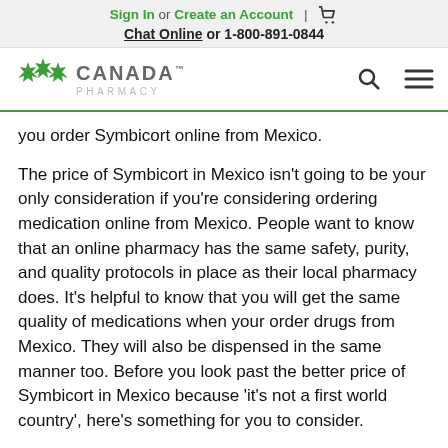Sign In or Create an Account | [cart] Chat Online or 1-800-891-0844
[Figure (logo): Canada Pharmacy logo with maple leaf icon, search icon, and hamburger menu]
you order Symbicort online from Mexico.
The price of Symbicort in Mexico isn’t going to be your only consideration if you’re considering ordering medication online from Mexico. People want to know that an online pharmacy has the same safety, purity, and quality protocols in place as their local pharmacy does. It’s helpful to know that you will get the same quality of medications when your order drugs from Mexico. They will also be dispensed in the same manner too. Before you look past the better price of Symbicort in Mexico because ‘it’s not a first world country’, here’s something for you to consider.